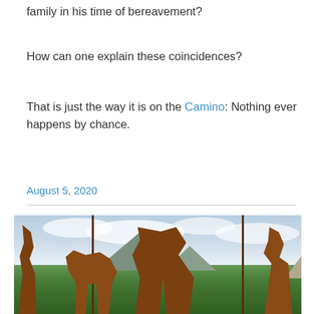family in his time of bereavement?
How can one explain these coincidences?
That is just the way it is on the Camino: Nothing ever happens by chance.
August 5, 2020
[Figure (photo): Silhouettes of pilgrims with a donkey and a camel-like animal against a mountain landscape backdrop, likely a metal sculpture or art installation on the Camino de Santiago route.]